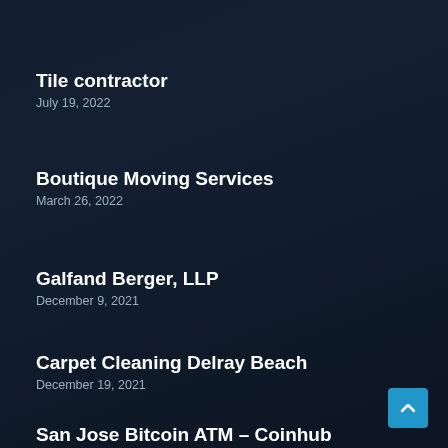Tile contractor
July 19, 2022
Boutique Moving Services
March 26, 2022
Galfand Berger, LLP
December 9, 2021
Carpet Cleaning Delray Beach
December 19, 2021
San Jose Bitcoin ATM – Coinhub
June 2, 2022